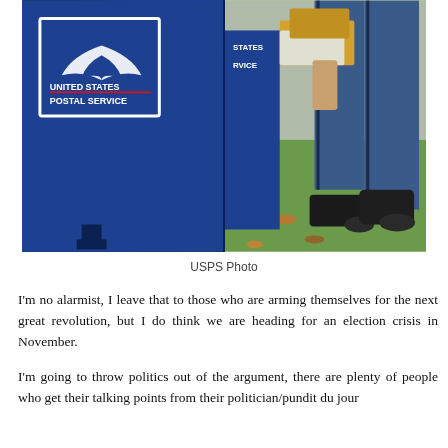[Figure (photo): Split photo showing a USPS blue mailbox with the United States Postal Service logo on the left, and a postal worker in blue uniform inserting mail into the mailbox on the right, standing on grass.]
USPS Photo
I'm no alarmist, I leave that to those who are arming themselves for the next great revolution, but I do think we are heading for an election crisis in November.
I'm going to throw politics out of the argument, there are plenty of people who get their talking points from their politician/pundit du jour